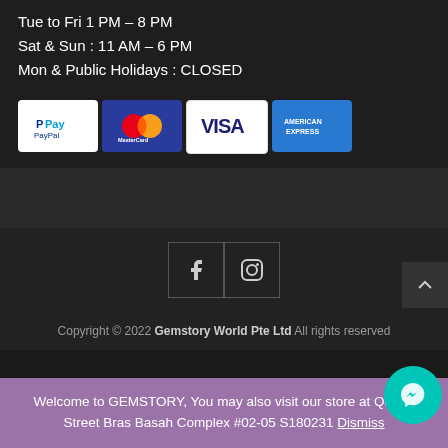Tue to Fri 1 PM – 8 PM
Sat & Sun : 11 AM – 6 PM
Mon & Public Holidays : CLOSED
[Figure (logo): Payment method logos: PayPal, MasterCard, Visa, American Express]
[Figure (infographic): Social media icons: Facebook and Instagram]
Copyright © 2022 Gemstory World Pte Ltd All rights reserved
Welcome to GEMSTORY, You may also visit our store at Queen Street Bras Basah Complex #02-05 S180231 Dismiss